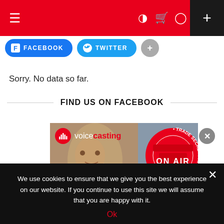Navigation bar with hamburger menu, dark mode, cart, user icons and plus button
[Figure (screenshot): Social sharing buttons: FACEBOOK (blue), TWITTER (blue), and a grey more (+) button]
Sorry. No data so far.
FIND US ON FACEBOOK
[Figure (photo): Voicecasting advertisement showing a woman close to a microphone with 'voice casting' branding and a red circular badge saying TRADE SECRETS AND TIPS with ON AIR text]
We use cookies to ensure that we give you the best experience on our website. If you continue to use this site we will assume that you are happy with it.
Ok